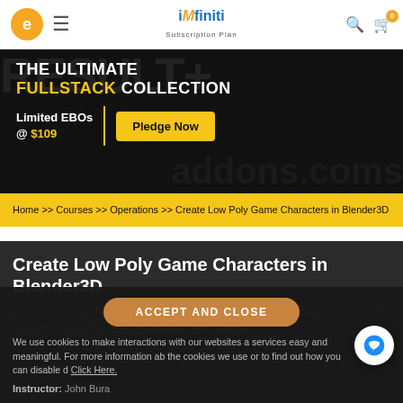e  ≡  iMfiniti Subscription Plan  🔍  🛒 0
[Figure (infographic): Promotional banner for 'The Ultimate Fullstack Collection', Limited EBOs @ $109, with a Pledge Now button]
Home >> Courses >> Operations >> Create Low Poly Game Characters in Blender3D
Create Low Poly Game Characters in Blender3D
Maximize your 3d game development skills with our 3d blender tutorial which allows to design low poly characters from scratch
ACCEPT AND CLOSE
We use cookies to make interactions with our websites a services easy and meaningful. For more information ab the cookies we use or to find out how you can disable d Click Here.
Instructor: John Bura